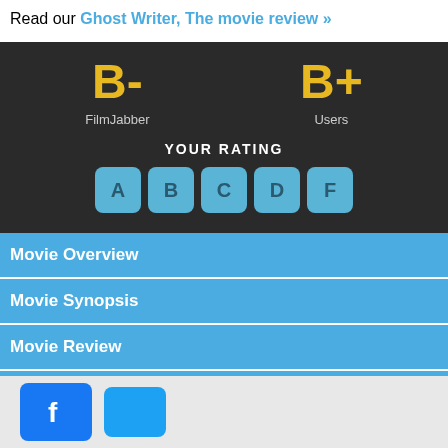Read our Ghost Writer, The movie review »
[Figure (infographic): Dark panel showing FilmJabber grade B- and Users grade B+ with a YOUR RATING interactive button row showing A B C D F letter grades in blue rounded buttons]
Movie Overview
Movie Synopsis
Movie Review
Movie Trailers
[Figure (logo): Facebook and Twitter social media icon buttons in gray footer area]